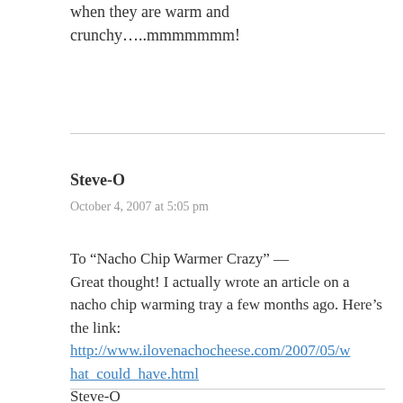when they are warm and crunchy…..mmmmmmm!
Steve-O
October 4, 2007 at 5:05 pm
To “Nacho Chip Warmer Crazy” — Great thought! I actually wrote an article on a nacho chip warming tray a few months ago. Here’s the link: http://www.ilovenachocheese.com/2007/05/what_could_have.html Steve-O